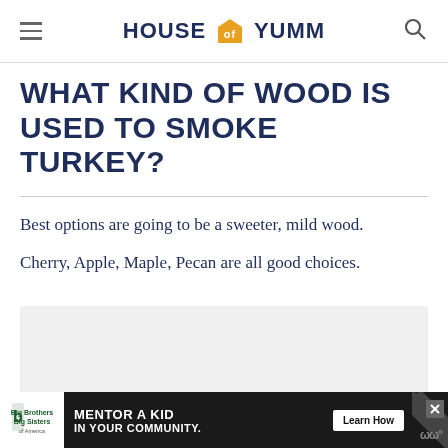HOUSE OF YUMM
WHAT KIND OF WOOD IS USED TO SMOKE TURKEY?
Best options are going to be a sweeter, mild wood. Cherry, Apple, Maple, Pecan are all good choices.
[Figure (other): Light gray advertisement placeholder box]
[Figure (other): Advertisement banner for Big Brothers Big Sisters: MENTOR A KID IN YOUR COMMUNITY. Learn How button with diagonal stripe graphic.]